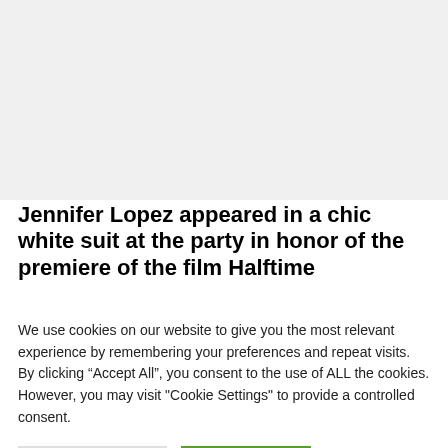[Figure (photo): Large image placeholder area with light gray background]
FASHION
Jennifer Lopez appeared in a chic white suit at the party in honor of the premiere of the film Halftime
We use cookies on our website to give you the most relevant experience by remembering your preferences and repeat visits. By clicking “Accept All”, you consent to the use of ALL the cookies. However, you may visit "Cookie Settings" to provide a controlled consent.